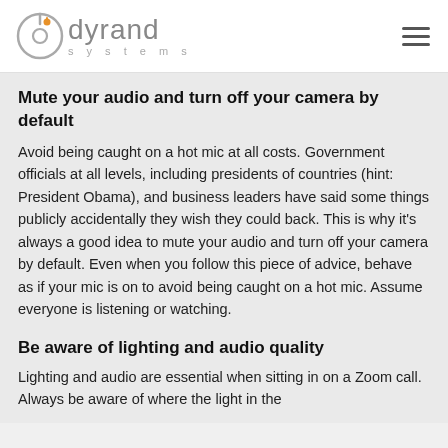dyrand systems
Mute your audio and turn off your camera by default
Avoid being caught on a hot mic at all costs. Government officials at all levels, including presidents of countries (hint: President Obama), and business leaders have said some things publicly accidentally they wish they could back. This is why it's always a good idea to mute your audio and turn off your camera by default. Even when you follow this piece of advice, behave as if your mic is on to avoid being caught on a hot mic. Assume everyone is listening or watching.
Be aware of lighting and audio quality
Lighting and audio are essential when sitting in on a Zoom call. Always be aware of where the light in the